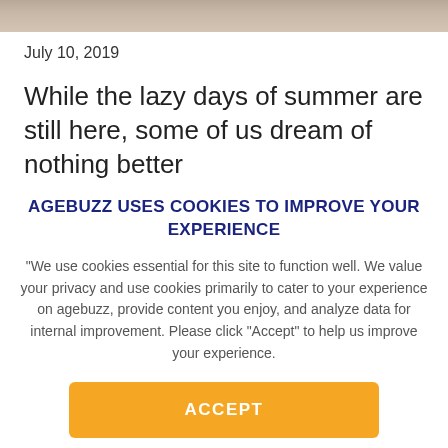[Figure (photo): Partial photo strip at top of page, showing a tan/beige textured surface]
July 10, 2019
While the lazy days of summer are still here, some of us dream of nothing better
AGEBUZZ USES COOKIES TO IMPROVE YOUR EXPERIENCE
"We use cookies essential for this site to function well. We value your privacy and use cookies primarily to cater to your experience on agebuzz, provide content you enjoy, and analyze data for internal improvement. Please click "Accept" to help us improve your experience.
ACCEPT
Do not use cookies